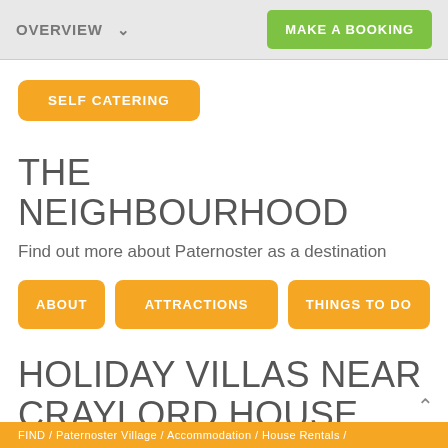OVERVIEW   MAKE A BOOKING
SELF CATERING
THE NEIGHBOURHOOD
Find out more about Paternoster as a destination
ABOUT
ATTRACTIONS
THINGS TO DO
HOLIDAY VILLAS NEAR CRAYLORD HOUSE